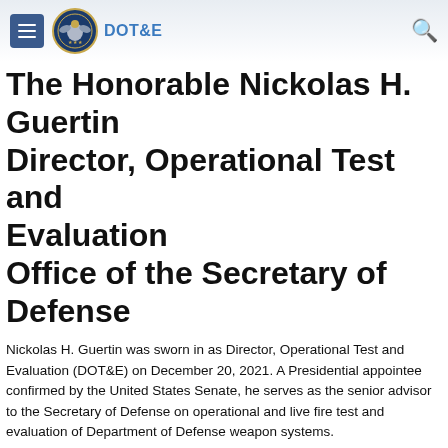DOT&E
The Honorable Nickolas H. Guertin
Director, Operational Test and Evaluation
Office of the Secretary of Defense
Nickolas H. Guertin was sworn in as Director, Operational Test and Evaluation (DOT&E) on December 20, 2021. A Presidential appointee confirmed by the United States Senate, he serves as the senior advisor to the Secretary of Defense on operational and live fire test and evaluation of Department of Defense weapon systems.
Mr. Guertin has an extensive four-decade combined military and civilian career in submarine operations; ship construction and maintenance; development and testing of weapons, sensors, combat management products including the improvement of systems engineering; and defense acquisition